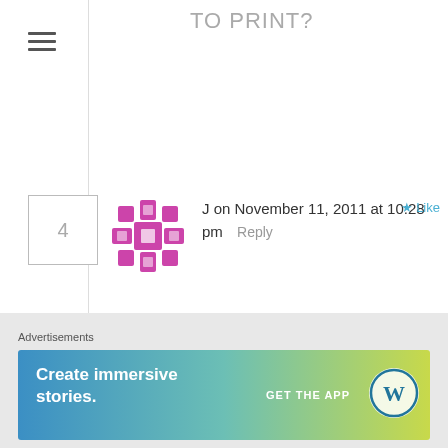TO PRINT?
[Figure (other): Hamburger menu icon (three horizontal lines)]
4
[Figure (illustration): Pink/magenta snowflake-style avatar for user J]
J on November 11, 2011 at 10:28 pm  Reply  ★ Like
It sounds delicious but I would like to print the recipe without the pictures. Is there anyway to do that?
5
[Figure (illustration): Green geometric diamond/arrow pattern avatar for user ayallawt]
ayallawt on November 12, 2011 at 4:24 am  Reply  ★ Like
Hi there J, I'll try and work on it. In the mean
Advertisements
[Figure (other): WordPress advertisement banner: 'Create immersive stories. GET THE APP' with WordPress logo, gradient blue-green-yellow background]